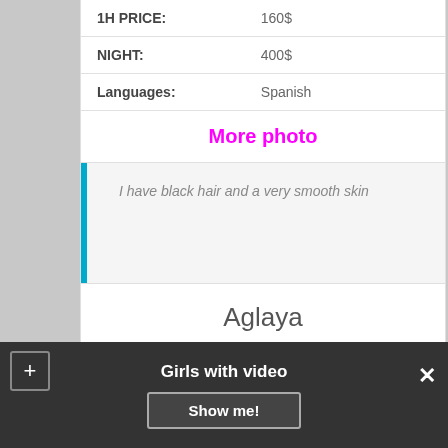| 1H PRICE: | 160$ |
| NIGHT: | 400$ |
| Languages: | Spanish |
More photo
I have black hair and a very smooth skin
Aglaya
[Figure (photo): Photo of a person with blonde hair near a window with green background]
Girls with video  Show me!